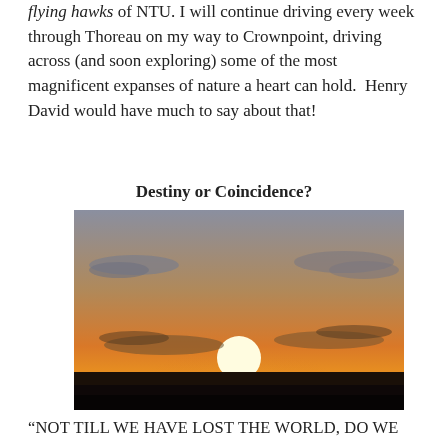flying hawks of NTU. I will continue driving every week through Thoreau on my way to Crownpoint, driving across (and soon exploring) some of the most magnificent expanses of nature a heart can hold.  Henry David would have much to say about that!
Destiny or Coincidence?
[Figure (photo): A landscape photograph of a dramatic sunset over flat terrain. A large bright white/yellow sun sits just above the horizon, glowing intensely. Dark silhouetted land with sparse vegetation is visible at the bottom. The sky transitions from deep orange near the horizon to muted gray-purple higher up, with scattered dark clouds lit from below by the setting sun.]
“NOT TILL WE HAVE LOST THE WORLD, DO WE